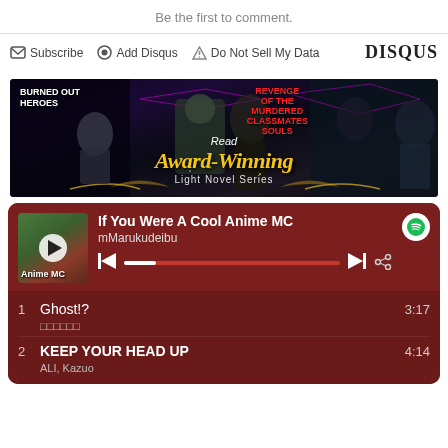Be the first to comment.
Subscribe  Add Disqus  Do Not Sell My Data  DISQUS
[Figure (illustration): Promotional banner for Award-Winning Light Novel Series featuring anime characters including Burned Out Heroes and Revenge of the Murdered Classmates Souls]
[Figure (screenshot): Spotify music player card with dark red background showing song 'If You Were A Cool Anime MC' by mMarukudeibu, with track list including Ghost!? (3:17) and KEEP YOUR HEAD UP by ALI, Kazuo (4:14)]